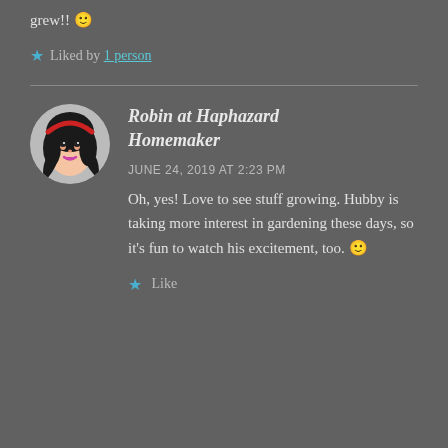grew!! 🙂
★ Liked by 1 person
Robin at Haphazard Homemaker
JUNE 24, 2019 AT 2:23 PM
Oh, yes! Love to see stuff growing. Hubby is taking more interest in gardening these days, so it's fun to watch his excitement, too. 🙂
★ Like